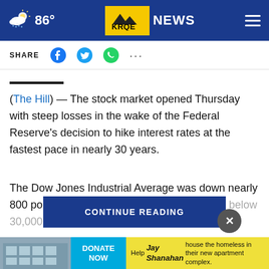86° KRQE NEWS
SHARE
(The Hill) — The stock market opened Thursday with steep losses in the wake of the Federal Reserve's decision to hike interest rates at the fastest pace in nearly 30 years.
The Dow Jones Industrial Average was down nearly 800 points, a d[…] fell below 30,000 points[…]
CONTINUE READING
[Figure (infographic): Advertisement banner for donating to house the homeless in their new apartment complex, featuring a building photo, a blue DONATE NOW button, and yellow background text.]